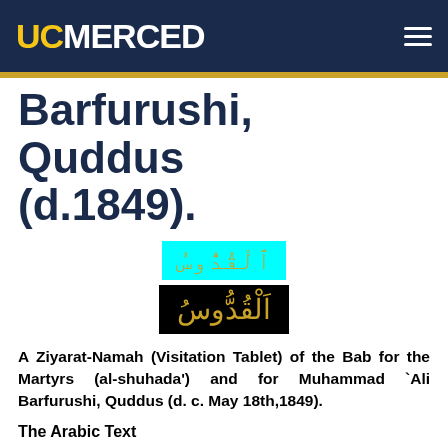UC MERCED
Barfurushi,   Quddus (d.1849).
[Figure (other): Two renderings of Arabic text 'al-Quddus': one on cyan background in gold, one on black background in gold]
A Ziyarat-Namah (Visitation Tablet) of the Bab for the Martyrs (al-shuhada') and for Muhammad `Ali Barfurushi, Quddus (d. c. May 18th,1849).
The Arabic Text